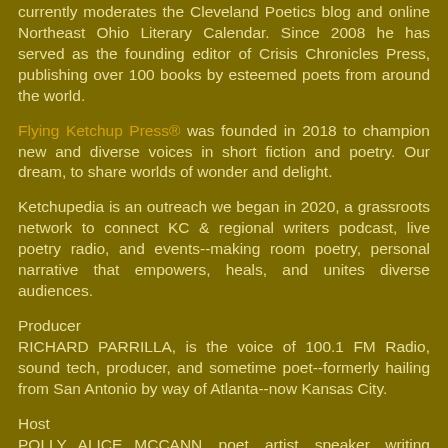currently moderates the Cleveland Poetics blog and online Northeast Ohio Literary Calendar. Since 2008 he has served as the founding editor of Crisis Chronicles Press, publishing over 100 books by esteemed poets from around the world.
Flying Ketchup Press® was founded in 2018 to champion new and diverse voices in short fiction and poetry. Our dream, to share worlds of wonder and delight.
Ketchupedia is an outreach we began in 2020, a grassroots network to connect KC & regional writers podcast, live poetry radio, and events--making room poetry, personal narrative that empowers, heals, and unites diverse audiences.
Producer
RICHARD PARRILLA, is the voice of 100.1 FM Radio, sound tech, producer, and sometime poet--formerly hailing from San Antonio by way of Atlanta--now Kansas City.
Host
POLLY ALICE MCCANN, poet, artist, speaker, writing professor, founder, and managing editor of Flying Ketchup